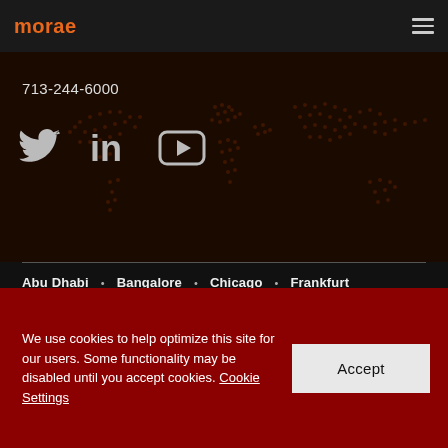morae
713-244-6000
[Figure (infographic): Social media icons: Twitter bird, LinkedIn 'in', YouTube play button on dark world map background]
Abu Dhabi • Bangalore • Chicago • Frankfurt
Hong Kong • Houston • London • Maastricht
We use cookies to help optimize this site for our users. Some functionality may be disabled until you accept cookies. Cookie Settings
Accept